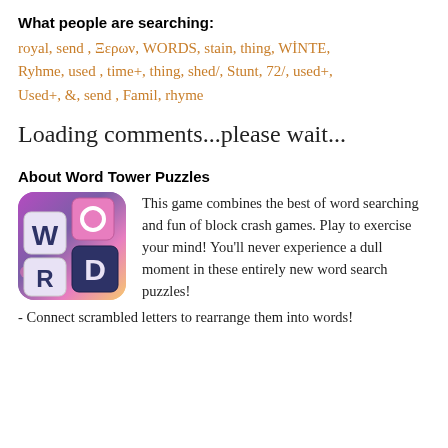What people are searching:
royal, send , Ξερων, WORDS, stain, thing, WİNTE, Ryhme, used , time+, thing, shed/, Stunt, 72/, used+, Used+, &, send , Famil, rhyme
Loading comments...please wait...
About Word Tower Puzzles
[Figure (illustration): Word Tower Puzzles game icon showing letter tiles W, O, R, D on a colorful gradient background with flowers]
This game combines the best of word searching and fun of block crash games. Play to exercise your mind! You'll never experience a dull moment in these entirely new word search puzzles!
- Connect scrambled letters to rearrange them into words!